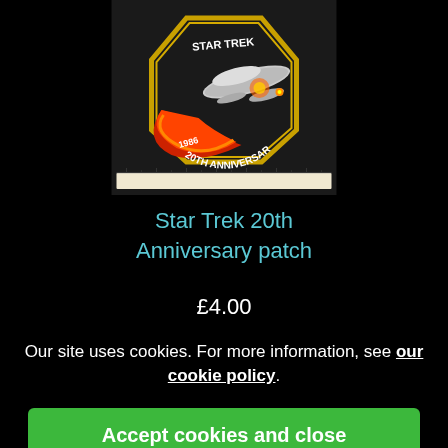[Figure (photo): Star Trek 20th Anniversary embroidered patch with Enterprise ship, flames, and anniversary text on black background, shown with ruler for scale]
Star Trek 20th Anniversary patch
£4.00
Our site uses cookies. For more information, see our cookie policy.
Accept cookies and close
Reject cookies
Manage settings